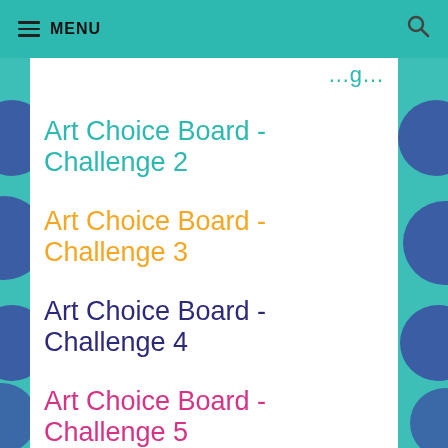MENU
Art Choice Board - Challenge 2
Art Choice Board - Challenge 3
Art Choice Board - Challenge 4
Art Choice Board - Challenge 5